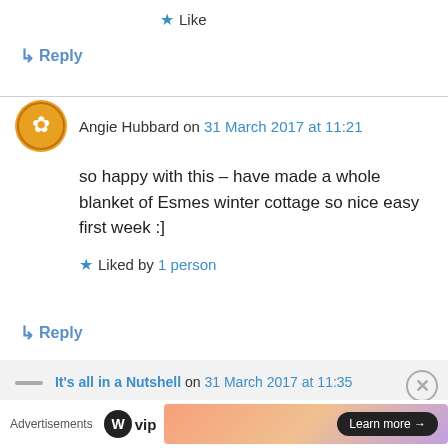★ Like
↳ Reply
Angie Hubbard on 31 March 2017 at 11:21
so happy with this – have made a whole blanket of Esmes winter cottage so nice easy first week :]
★ Liked by 1 person
↳ Reply
It's all in a Nutshell on 31 March 2017 at 11:35
Advertisements
[Figure (logo): WordPress VIP logo with WP circle icon and 'vip' text]
[Figure (infographic): Advertisement banner with gradient pink/purple background and 'Learn more →' button]